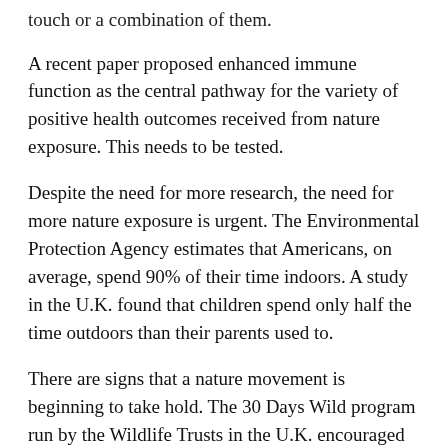touch or a combination of them.
A recent paper proposed enhanced immune function as the central pathway for the variety of positive health outcomes received from nature exposure. This needs to be tested.
Despite the need for more research, the need for more nature exposure is urgent. The Environmental Protection Agency estimates that Americans, on average, spend 90% of their time indoors. A study in the U.K. found that children spend only half the time outdoors than their parents used to.
There are signs that a nature movement is beginning to take hold. The 30 Days Wild program run by the Wildlife Trusts in the U.K. encouraged people to engage with nature every day for a month. In its first year, more than 18,000 people signed up. It starts again June 1, 2019.
Doctors in Scotland are now able give Nature Prescriptions to their patients. The educational leaflet they provide describes numerous monthly activities including touching the ocean, taking a dog for a walk and following a bumblebee. In the U.S.,